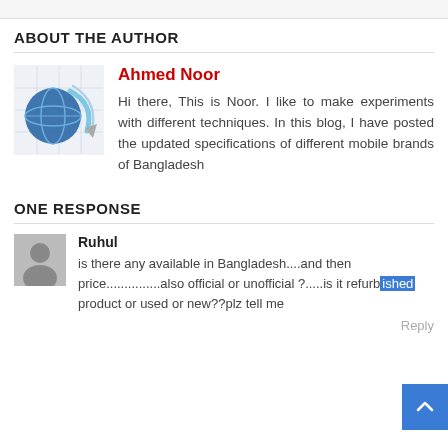ABOUT THE AUTHOR
Ahmed Noor
Hi there, This is Noor. I like to make experiments with different techniques. In this blog, I have posted the updated specifications of different mobile brands of Bangladesh
ONE RESPONSE
Ruhul
is there any available in Bangladesh....and then price...............also official or unofficial ?.....is it refurbished product or used or new??plz tell me
Reply